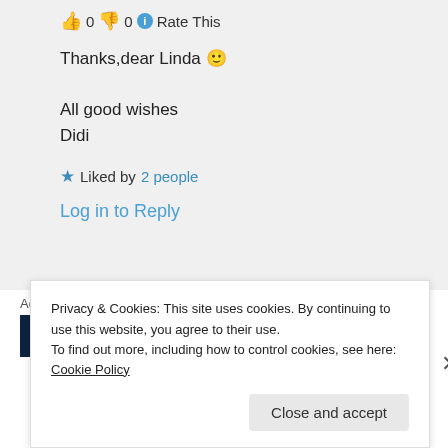👍 0 👎 0 ℹ Rate This
Thanks,dear Linda 🙂
All good wishes
Didi
★ Liked by 2 people
Log in to Reply
Advertisements
[Figure (screenshot): Dark blue advertisement banner with white italic text reading 'Create surveys, polls']
Privacy & Cookies: This site uses cookies. By continuing to use this website, you agree to their use.
To find out more, including how to control cookies, see here: Cookie Policy
Close and accept